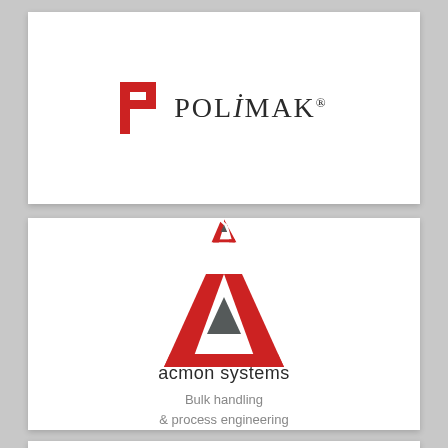[Figure (logo): Polimak logo: red stylized P letter mark followed by POLIMAK registered trademark text in serif font]
[Figure (logo): Acmon Systems logo: red triangular arrow shape with grey triangle cutout, below text 'acmon systems' and tagline 'Bulk handling & process engineering']